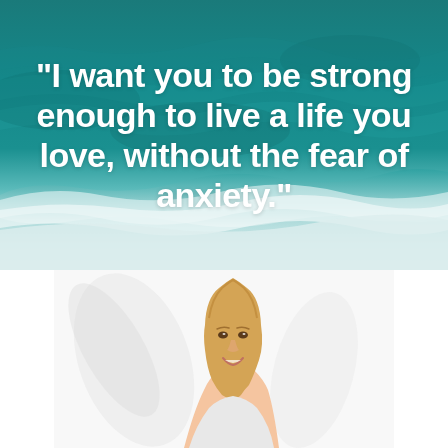[Figure (photo): Aerial view of ocean waves and teal-colored water with white foam at the shoreline, used as background for a quote about anxiety]
"I want you to be strong enough to live a life you love, without the fear of anxiety."
[Figure (photo): A smiling woman with blonde hair photographed against a light/white background with soft shadow shapes behind her]